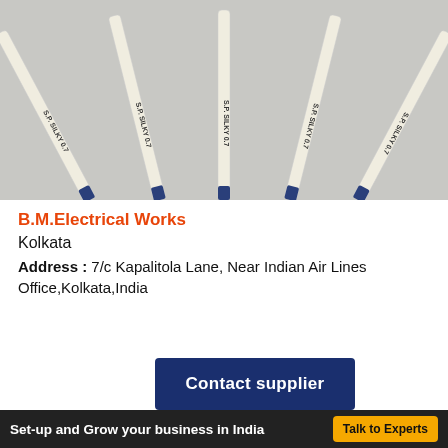[Figure (photo): Five white pencils/pens fanned out with blue tips at the bottom, labeled S.P. SILKY 0.7, with a white label box showing 'S.P. SILKY 0.7']
B.M.Electrical Works
Kolkata
Address : 7/c Kapalitola Lane, Near Indian Air Lines Office,Kolkata,India
Contact supplier
Looking to setup or expand your business in India?
Set-up and Grow your business in India  Talk to Experts